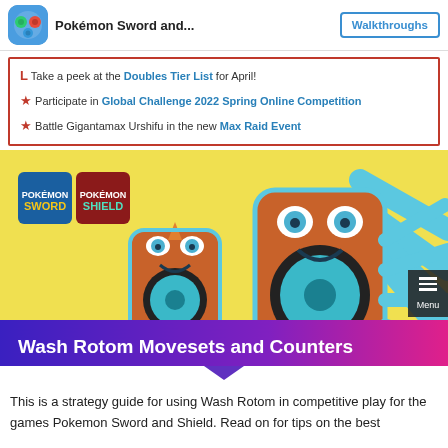Pokémon Sword and...   Walkthroughs
Take a peek at the Doubles Tier List for April!
Participate in Global Challenge 2022 Spring Online Competition
Battle Gigantamax Urshifu in the new Max Raid Event
[Figure (illustration): Wash Rotom Movesets and Counters banner image showing Wash Rotom characters on yellow background with Pokemon Sword and Shield logos, and a purple-to-pink gradient title banner at the bottom.]
This is a strategy guide for using Wash Rotom in competitive play for the games Pokemon Sword and Shield. Read on for tips on the best